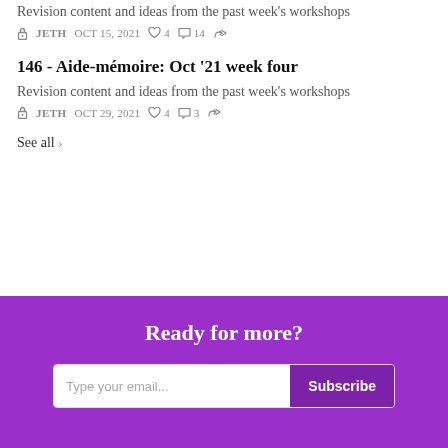Revision content and ideas from the past week's workshops
JETH  OCT 15, 2021  ♡ 4  ○ 14  ↗
146 - Aide-mémoire: Oct '21 week four
Revision content and ideas from the past week's workshops
JETH  OCT 29, 2021  ♡ 4  ○ 3  ↗
See all ›
Ready for more?
Type your email...  Subscribe